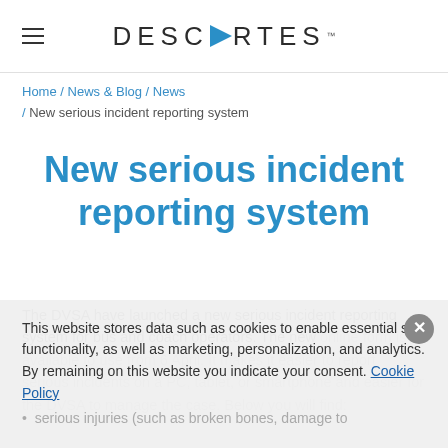≡  DESCARTES
Home / News & Blog / News / New serious incident reporting system
New serious incident reporting system
The DVSA have launched a new serious incident reporting system for bus and coach operators. The new online form is available to use from 6 April. It makes it easier to report serious incidents on a PC, tablet, or smartphone and easier for the DVSA to manage the case. Below you will find:
This website stores data such as cookies to enable essential site functionality, as well as marketing, personalization, and analytics. By remaining on this website you indicate your consent. Cookie Policy
serious injuries (such as broken bones, damage to